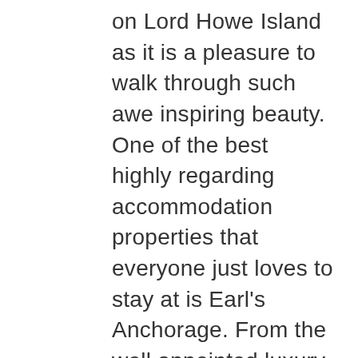on Lord Howe Island as it is a pleasure to walk through such awe inspiring beauty. One of the best highly regarding accommodation properties that everyone just loves to stay at is Earl's Anchorage. From the well appointed luxury rooms you are completely enclosed by lush green surroundings and just a short walk to all that you will need for an enjoyable holiday.
Lord Howe Island is a special place that many people from all over Australia and from overseas having been coming to for many years. No matter